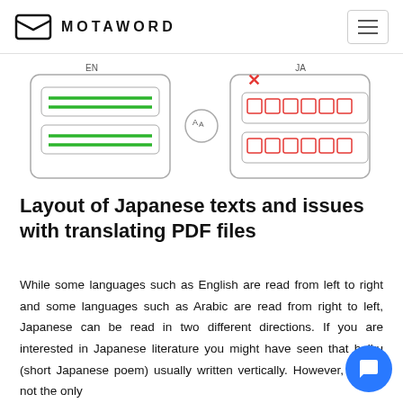MOTAWORD
[Figure (illustration): Translation diagram showing EN (English) document with green text lines on the left, a translation icon in the center, and JA (Japanese) document on the right with red square character placeholders and a red X mark indicating translation error/issue]
Layout of Japanese texts and issues with translating PDF files
While some languages such as English are read from left to right and some languages such as Arabic are read from right to left, Japanese can be read in two different directions. If you are interested in Japanese literature you might have seen that haiku (short Japanese poem) usually written vertically. However, that is not the only